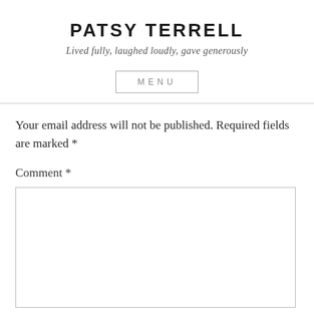PATSY TERRELL
Lived fully, laughed loudly, gave generously
MENU
Your email address will not be published. Required fields are marked *
Comment *